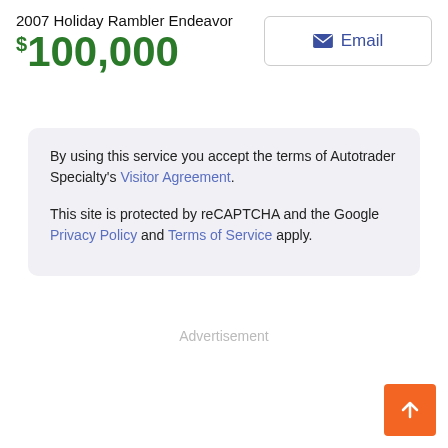2007 Holiday Rambler Endeavor
$100,000
By using this service you accept the terms of Autotrader Specialty's Visitor Agreement. This site is protected by reCAPTCHA and the Google Privacy Policy and Terms of Service apply.
Advertisement